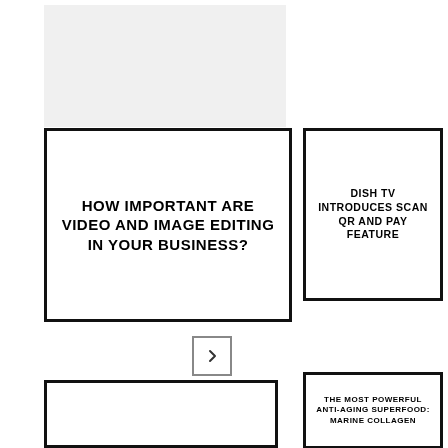[Figure (illustration): Light gray image placeholder in top left area]
HOW IMPORTANT ARE VIDEO AND IMAGE EDITING IN YOUR BUSINESS?
DISH TV INTRODUCES SCAN QR AND PAY FEATURE
[Figure (other): Navigation previous and next arrow buttons]
[Figure (illustration): White/empty image placeholder in bottom left area]
THE MOST POWERFUL ANTI-AGING SUPERFOOD: MARINE COLLAGEN